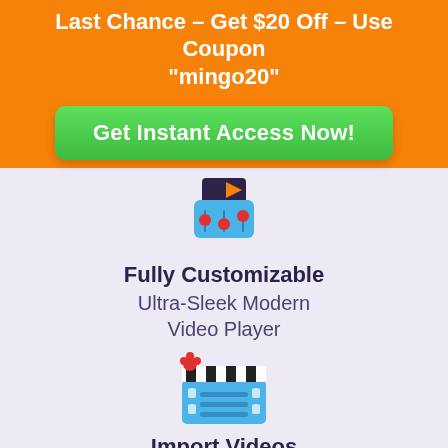Last Chance – Get $20 Off – Use Coupon "mingo20"
Get Instant Access Now!
[Figure (illustration): Icon of a video player with sliders/controls — dark clapperboard shape with blue mixer sliders and red controls, orange play button triangle]
Fully Customizable
Ultra-Sleek Modern Video Player
[Figure (illustration): Icon of a film clapperboard — black and white striped top with red flower/dots, blue body with film strip holes and horizontal lines]
Import Videos